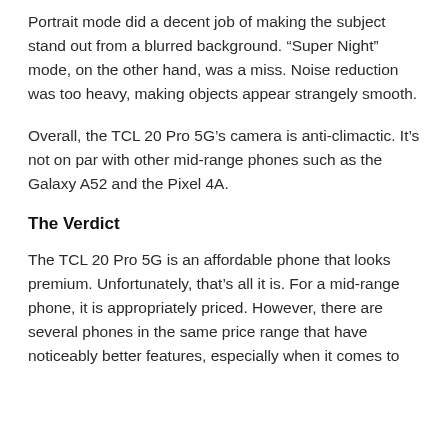Portrait mode did a decent job of making the subject stand out from a blurred background. “Super Night” mode, on the other hand, was a miss. Noise reduction was too heavy, making objects appear strangely smooth.
Overall, the TCL 20 Pro 5G’s camera is anti-climactic. It’s not on par with other mid-range phones such as the Galaxy A52 and the Pixel 4A.
The Verdict
The TCL 20 Pro 5G is an affordable phone that looks premium. Unfortunately, that’s all it is. For a mid-range phone, it is appropriately priced. However, there are several phones in the same price range that have noticeably better features, especially when it comes to...